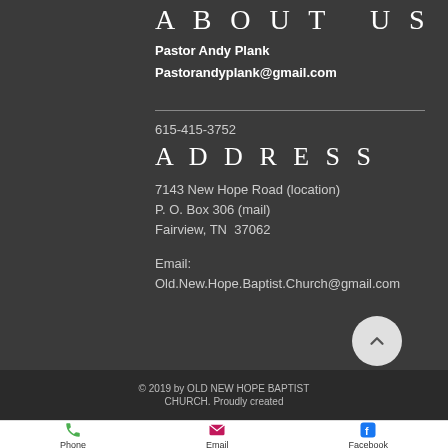ABOUT US
Pastor Andy Plank
Pastorandyplank@gmail.com
615-415-3752
ADDRESS
7143 New Hope Road (location)
P. O. Box 306 (mail)
Fairview, TN  37062
Email:
Old.New.Hope.Baptist.Church@gmail.com
© 2019 by OLD NEW HOPE BAPTIST CHURCH. Proudly created
Phone   Email   Facebook